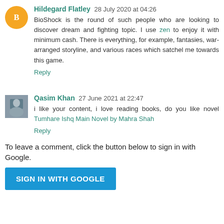Hildegard Flatley 28 July 2020 at 04:26
BioShock is the round of such people who are looking to discover dream and fighting topic. I use zen to enjoy it with minimum cash. There is everything, for example, fantasies, war-arranged storyline, and various races which satchel me towards this game.
Reply
Qasim Khan 27 June 2021 at 22:47
i like your content, i love reading books, do you like novel Tumhare Ishq Main Novel by Mahra Shah
Reply
To leave a comment, click the button below to sign in with Google.
SIGN IN WITH GOOGLE